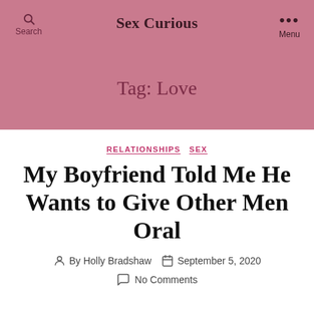Sex Curious
Tag: Love
RELATIONSHIPS  SEX
My Boyfriend Told Me He Wants to Give Other Men Oral
By Holly Bradshaw  September 5, 2020
No Comments